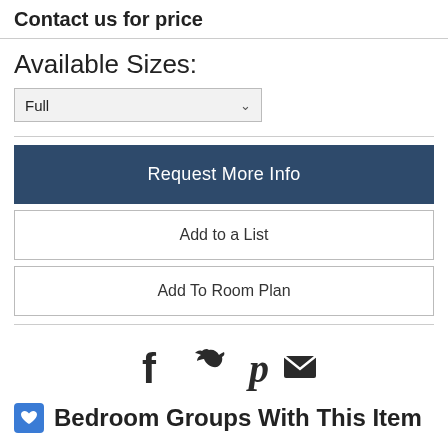Contact us for price
Available Sizes:
Full
Request More Info
Add to a List
Add To Room Plan
[Figure (infographic): Social media sharing icons: Facebook, Twitter, Pinterest, Email]
Bedroom Groups With This Item